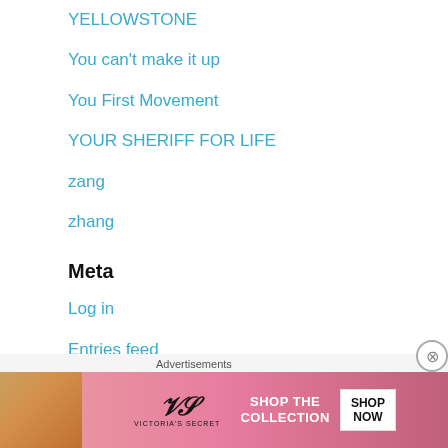YELLOWSTONE
You can't make it up
You First Movement
YOUR SHERIFF FOR LIFE
zang
zhang
Meta
Log in
Entries feed
Comments feed
[Figure (other): Victoria's Secret advertisement banner with model, VS logo, 'SHOP THE COLLECTION' text and 'SHOP NOW' button on pink background]
Advertisements